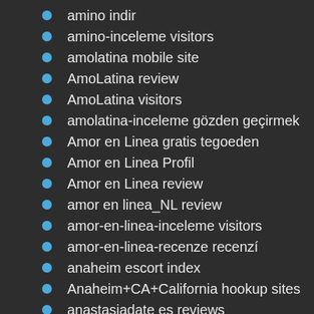amino indir
amino-inceleme visitors
amolatina mobile site
AmoLatina review
AmoLatina visitors
amolatina-inceleme gözden geçirmek
Amor en Linea gratis tegoeden
Amor en Linea Profil
Amor en Linea review
amor en linea_NL review
amor-en-linea-inceleme visitors
amor-en-linea-recenze recenzí
anaheim escort index
Anaheim+CA+California hookup sites
anastasiadate es reviews